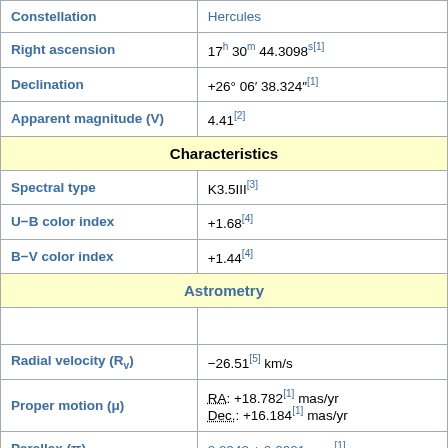| Property | Value |
| --- | --- |
| Constellation | Hercules |
| Right ascension | 17h 30m 44.3098s[1] |
| Declination | +26° 06′ 38.324″[1] |
| Apparent magnitude (V) | 4.41[2] |
| Characteristics |  |
| Spectral type | K3.5III[3] |
| U−B color index | +1.68[4] |
| B−V color index | +1.44[4] |
| Astrometry |  |
| Radial velocity (Rv) | −26.51[5] km/s |
| Proper motion (μ) | RA: +18.782[1] mas/yr  Dec.: +16.184[1] mas/yr |
| Parallax (π) | 8.2943 ± 0.0921 mas[1] |